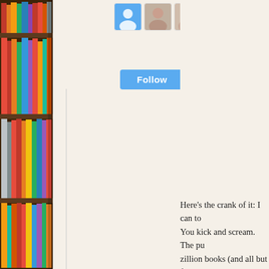[Figure (illustration): Bookshelf with colorful book spines along the left edge of the page]
[Figure (photo): Three user avatar/profile images: a blue placeholder icon, and two small photos of people]
Follow
Here's the crank of it: I can to You kick and scream. The pu zillion books (and all but fou seriously. You kind of feel lik any consequence. And you st really only between you and
We've all done something sir petty steps on social media th be hurt by it.
But fuck if the artist of that c that pissed off guy–so anywa you want to be remembered f